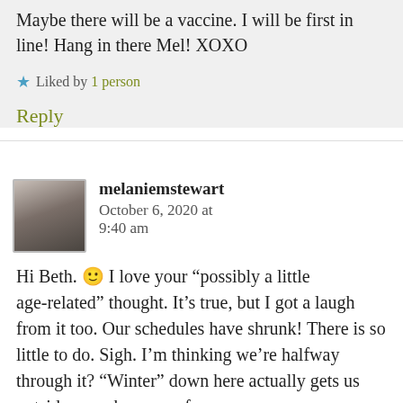clean up. What happens when winter comes? Maybe there will be a vaccine. I will be first in line! Hang in there Mel! XOXO
★ Liked by 1 person
Reply
melaniemstewart  October 6, 2020 at 9:40 am
Hi Beth. 🙂 I love your "possibly a little age-related" thought. It's true, but I got a laugh from it too. Our schedules have shrunk! There is so little to do. Sigh. I'm thinking we're halfway through it? "Winter" down here actually gets us outside more because of